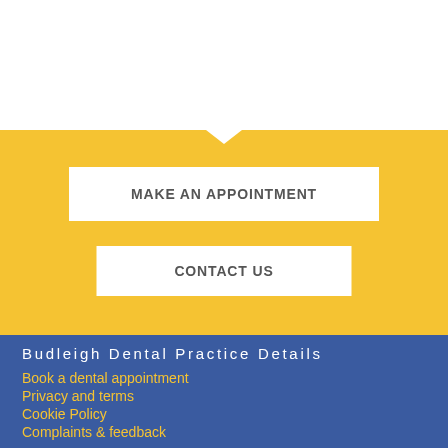[Figure (other): Yellow banner section with white notch/chevron at top and two white call-to-action buttons: MAKE AN APPOINTMENT and CONTACT US]
MAKE AN APPOINTMENT
CONTACT US
Budleigh Dental Practice Details
Book a dental appointment
Privacy and terms
Cookie Policy
Complaints & feedback